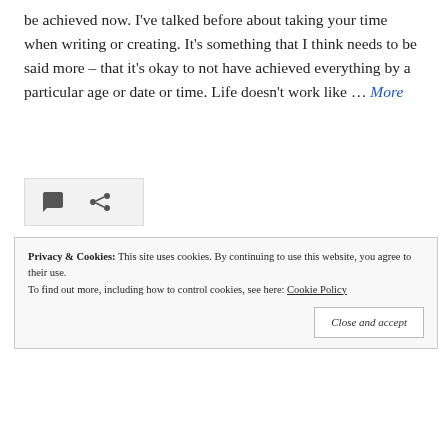be achieved now. I've talked before about taking your time when writing or creating. It's something that I think needs to be said more – that it's okay to not have achieved everything by a particular age or date or time. Life doesn't work like … More
[Figure (other): Icon bar with comment bubble and share/link icons on a light grey background]
[Figure (photo): Outdoor landscape photo showing a bright light source in the center (possibly sunset or sunrise) with trees silhouetted on left and right, and a dandelion in the foreground]
Privacy & Cookies: This site uses cookies. By continuing to use this website, you agree to their use. To find out more, including how to control cookies, see here: Cookie Policy
Close and accept